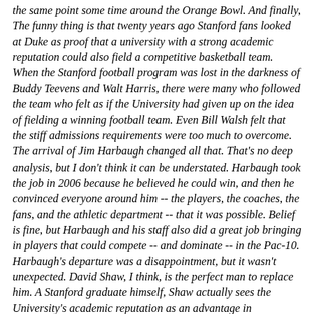the same point some time around the Orange Bowl. And finally, The funny thing is that twenty years ago Stanford fans looked at Duke as proof that a university with a strong academic reputation could also field a competitive basketball team. When the Stanford football program was lost in the darkness of Buddy Teevens and Walt Harris, there were many who followed the team who felt as if the University had given up on the idea of fielding a winning football team. Even Bill Walsh felt that the stiff admissions requirements were too much to overcome. The arrival of Jim Harbaugh changed all that. That's no deep analysis, but I don't think it can be understated. Harbaugh took the job in 2006 because he believed he could win, and then he convinced everyone around him -- the players, the coaches, the fans, and the athletic department -- that it was possible. Belief is fine, but Harbaugh and his staff also did a great job bringing in players that could compete -- and dominate -- in the Pac-10. Harbaugh's departure was a disappointment, but it wasn't unexpected. David Shaw, I think, is the perfect man to replace him. A Stanford graduate himself, Shaw actually sees the University's academic reputation as an advantage in recruiting, and the football always at one on the road better to allow it...